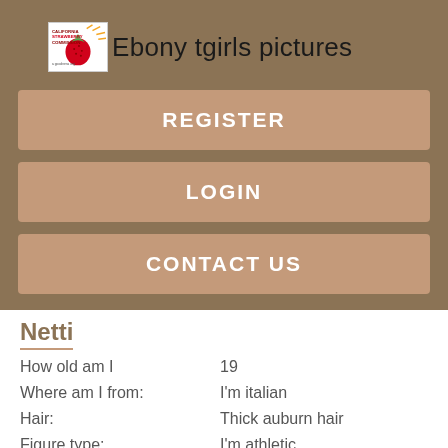Ebony tgirls pictures
REGISTER
LOGIN
CONTACT US
Netti
| How old am I | 19 |
| Where am I from: | I'm italian |
| Hair: | Thick auburn hair |
| Figure type: | I'm athletic |